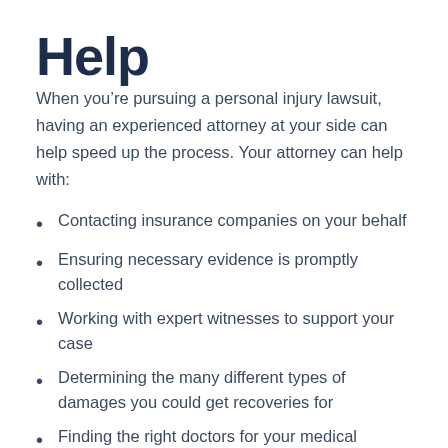Help
When you’re pursuing a personal injury lawsuit, having an experienced attorney at your side can help speed up the process. Your attorney can help with:
Contacting insurance companies on your behalf
Ensuring necessary evidence is promptly collected
Working with expert witnesses to support your case
Determining the many different types of damages you could get recoveries for
Finding the right doctors for your medical damages
Procuring accident reports